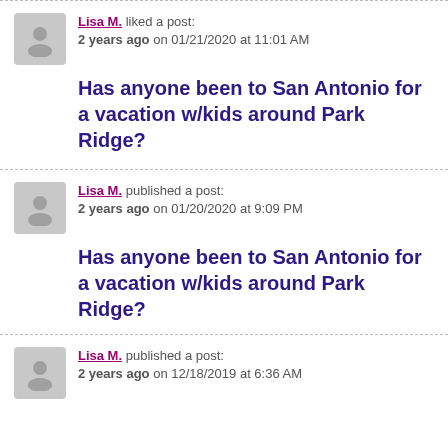Lisa M. liked a post: 2 years ago on 01/21/2020 at 11:01 AM
Has anyone been to San Antonio for a vacation w/kids around Park Ridge?
Lisa M. published a post: 2 years ago on 01/20/2020 at 9:09 PM
Has anyone been to San Antonio for a vacation w/kids around Park Ridge?
Lisa M. published a post: 2 years ago on 12/18/2019 at 6:36 AM